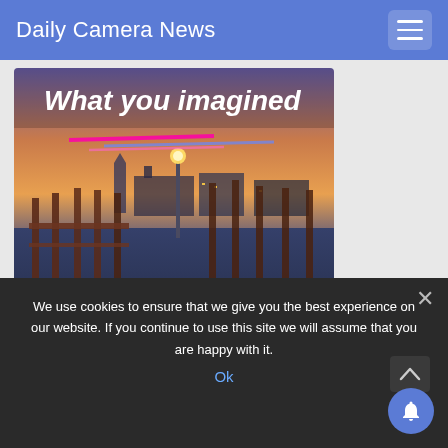Daily Camera News
[Figure (photo): Advertisement photo showing Venice gondolas at sunset with text 'What you imagined' and a pink 'BUY NOW' button, with colorful light streaks]
We use cookies to ensure that we give you the best experience on our website. If you continue to use this site we will assume that you are happy with it.
Ok